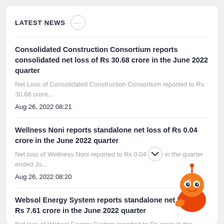LATEST NEWS
Consolidated Construction Consortium reports consolidated net loss of Rs 30.68 crore in the June 2022 quarter
Net Loss of Consolidated Construction Consortium reported to Rs 30.68 crore...
Aug 26, 2022 08:21
Wellness Noni reports standalone net loss of Rs 0.04 crore in the June 2022 quarter
Net loss of Wellness Noni reported to Rs 0.04 crore in the quarter ended Ju...
Aug 26, 2022 08:20
Websol Energy System reports standalone net loss of Rs 7.61 crore in the June 2022 quarter
Net loss of Websol Energy System reported to Rs crore in the quarter e...
Aug 25, 2022 15:21